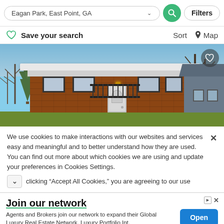Eagan Park, East Point, GA — Filters
Save your search   Sort   Map
[Figure (photo): Exterior photo of a brick ranch-style house with white flat roof overhang, white front door, bare winter trees in background, blue sky]
We use cookies to make interactions with our websites and services easy and meaningful and to better understand how they are used. You can find out more about which cookies we are using and update your preferences in Cookies Settings. clicking "Accept All Cookies," you are agreeing to our use
Join our network
Agents and Brokers join our network to expand their Global Luxury Real Estate Network. Luxury Portfolio Int.
Open